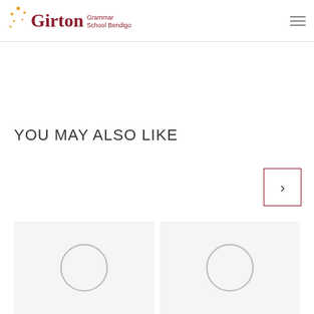Girton Grammar School Bendigo
YOU MAY ALSO LIKE
[Figure (other): Navigation next arrow button — a square bordered box containing a right-facing chevron arrow]
[Figure (other): Two content cards with placeholder circle icons on a light gray background]